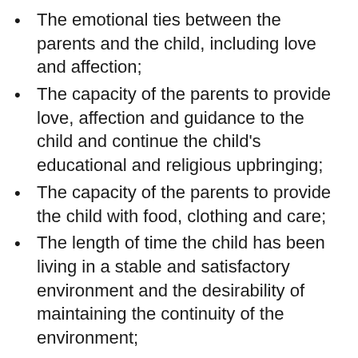The emotional ties between the parents and the child, including love and affection;
The capacity of the parents to provide love, affection and guidance to the child and continue the child's educational and religious upbringing;
The capacity of the parents to provide the child with food, clothing and care;
The length of time the child has been living in a stable and satisfactory environment and the desirability of maintaining the continuity of the environment;
The permanence of the proposed home for the child;
The moral fitness of the parents;
The mental and physical health of the